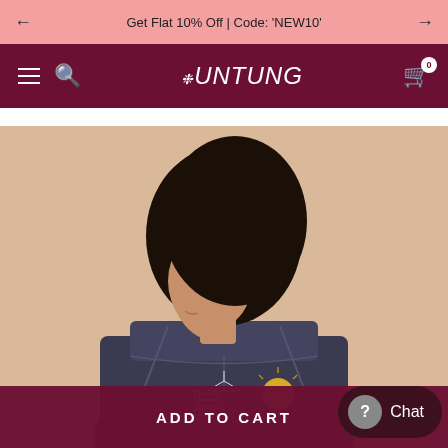← Get Flat 10% Off | Code: 'NEW10' →
[Figure (logo): UNTUNG fashion brand logo in white italic text with a small leaf icon, on dark maroon navigation bar with hamburger menu, search icon, and cart icon with badge 0]
[Figure (photo): Woman wearing a dark denim jacket with embroidered design on the back including a sun motif and architectural/temple illustration, posed with back to camera and head turned slightly, against a beige background]
ADD TO CART
Chat